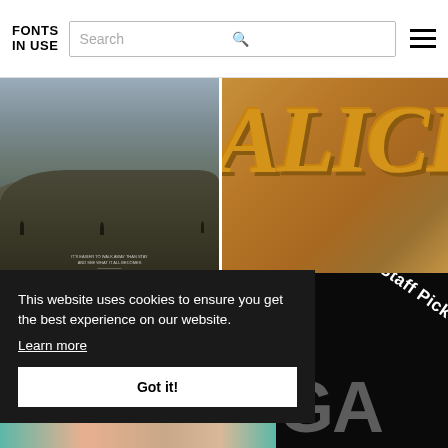FONTS IN USE — Search bar and navigation
[Figure (photo): Dark moody landscape photo with silhouetted figures on a hill, film-style image]
[Figure (photo): Close-up of orange/golden ALICE lettering, vintage sign style]
DIN Condensed PT
ITC Souvenir
Proxima Nova
Helvetica
STEELTONGS
This website uses cookies to ensure you get the best experience on our website.
Learn more
Got it!
[Figure (photo): Dark background image showing large GA letters and Staff Pick badge text]